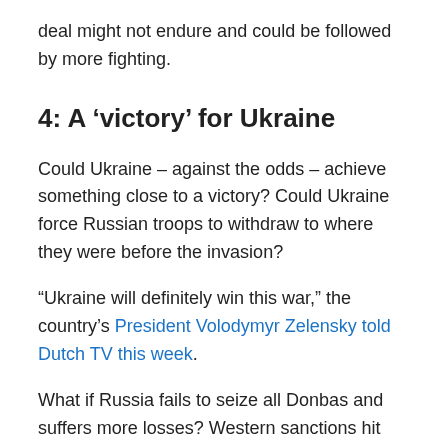deal might not endure and could be followed by more fighting.
4: A ‘victory’ for Ukraine
Could Ukraine – against the odds – achieve something close to a victory? Could Ukraine force Russian troops to withdraw to where they were before the invasion?
“Ukraine will definitely win this war,” the country’s President Volodymyr Zelensky told Dutch TV this week.
What if Russia fails to seize all Donbas and suffers more losses? Western sanctions hit Russia’s war machine. Ukraine makes counter attacks, using its new long-range rockets, seizing back territory where Russian supply lines